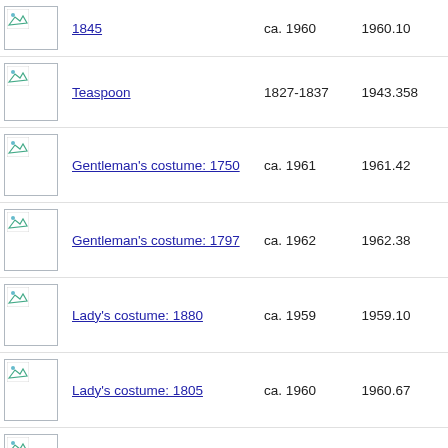| Image | Title | Date | ID |
| --- | --- | --- | --- |
| [img] | 1845 | ca. 1960 | 1960.10 |
| [img] | Teaspoon | 1827-1837 | 1943.358 |
| [img] | Gentleman's costume: 1750 | ca. 1961 | 1961.42 |
| [img] | Gentleman's costume: 1797 | ca. 1962 | 1962.38 |
| [img] | Lady's costume: 1880 | ca. 1959 | 1959.10 |
| [img] | Lady's costume: 1805 | ca. 1960 | 1960.67 |
| [img] | Lady's costume: 1942 | ca. 1963 | 1963.151 |